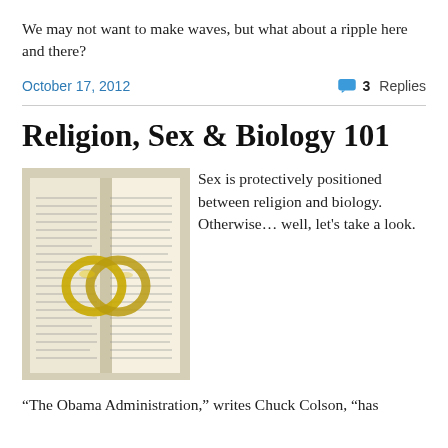We may not want to make waves, but what about a ripple here and there?
October 17, 2012
3 Replies
Religion, Sex & Biology 101
[Figure (photo): Open Bible with wedding rings resting on the pages, text from Genesis visible]
Sex is protectively positioned between religion and biology.  Otherwise… well, let's take a look.
“The Obama Administration,” writes Chuck Colson, “has